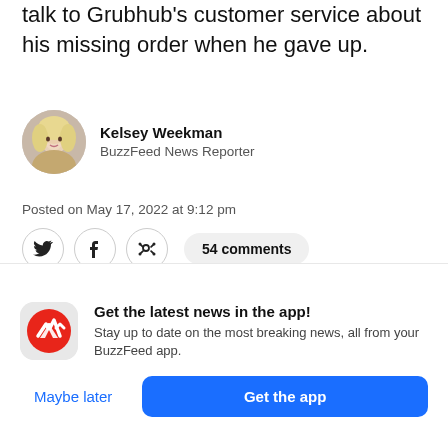talk to Grubhub's customer service about his missing order when he gave up.
Kelsey Weekman
BuzzFeed News Reporter
Posted on May 17, 2022 at 9:12 pm
54 comments
[Figure (photo): Photo of a tablet/screen device showing a delivery app, placed on a surface with cables and background items]
Get the latest news in the app!
Stay up to date on the most breaking news, all from your BuzzFeed app.
Maybe later
Get the app